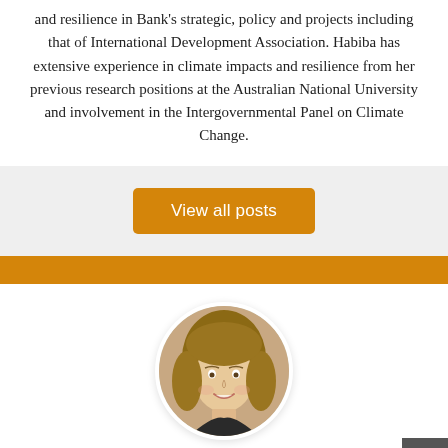and resilience in Bank's strategic, policy and projects including that of International Development Association. Habiba has extensive experience in climate impacts and resilience from her previous research positions at the Australian National University and involvement in the Intergovernmental Panel on Climate Change.
View all posts
[Figure (photo): Circular portrait photo of Simone Esler, a woman with long blonde/brown hair, smiling]
Simone Esler